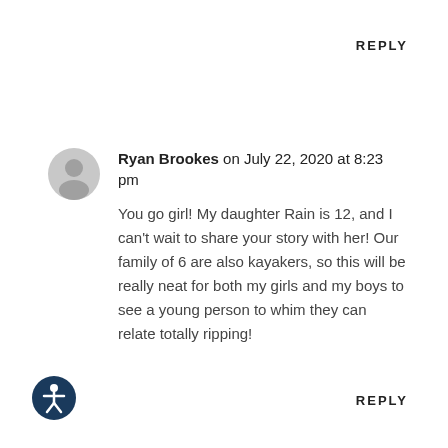REPLY
Ryan Brookes on July 22, 2020 at 8:23 pm
You go girl! My daughter Rain is 12, and I can't wait to share your story with her! Our family of 6 are also kayakers, so this will be really neat for both my girls and my boys to see a young person to whim they can relate totally ripping!
REPLY
[Figure (illustration): Accessibility icon - dark navy circle with white human figure (universal accessibility symbol)]